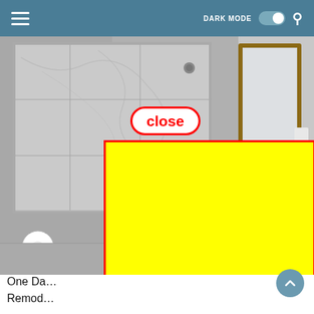[Figure (screenshot): Mobile app UI screenshot showing a header navigation bar with hamburger menu, DARK MODE toggle, and search icon on a teal/steel blue background.]
[Figure (photo): Bathroom remodel photo showing a marble tile shower with glass enclosure, toilet paper holder, wood-framed mirror, and granite sink area. A red-outlined 'close' button is overlaid near the center, and a large yellow rectangle with red border covers the lower-center portion of the image.]
One Da
Remod
[Figure (other): Scroll-to-top circular button with upward chevron arrow in steel blue color.]